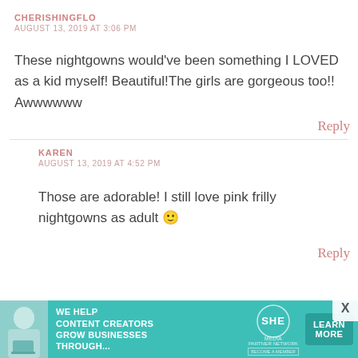CHERISHINGFLO
AUGUST 13, 2019 AT 3:06 PM
These nightgowns would’ve been something I LOVED as a kid myself! Beautiful!The girls are gorgeous too!! Awwwwww
Reply
KAREN
AUGUST 13, 2019 AT 4:52 PM
Those are adorable! I still love pink frilly nightgowns as adult 😊
Reply
[Figure (infographic): Teal advertisement banner for SHE Media Partner Network reading: WE HELP CONTENT CREATORS GROW BUSINESSES THROUGH... with a LEARN MORE button and woman with laptop photo]